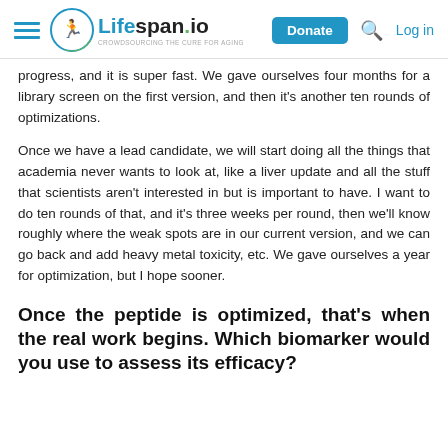Lifespan.io — Donate | Search | Log in
progress, and it is super fast. We gave ourselves four months for a library screen on the first version, and then it's another ten rounds of optimizations.
Once we have a lead candidate, we will start doing all the things that academia never wants to look at, like a liver update and all the stuff that scientists aren't interested in but is important to have. I want to do ten rounds of that, and it's three weeks per round, then we'll know roughly where the weak spots are in our current version, and we can go back and add heavy metal toxicity, etc. We gave ourselves a year for optimization, but I hope sooner.
Once the peptide is optimized, that's when the real work begins. Which biomarker would you use to assess its efficacy?